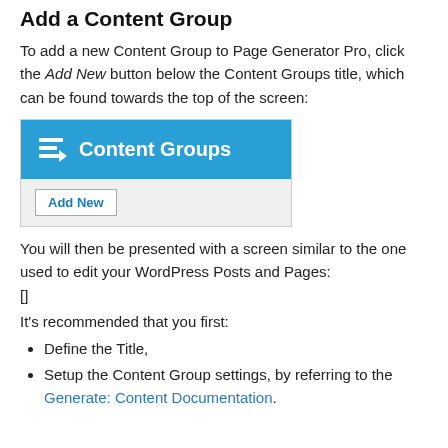Add a Content Group
To add a new Content Group to Page Generator Pro, click the Add New button below the Content Groups title, which can be found towards the top of the screen:
[Figure (screenshot): Screenshot showing a blue 'Content Groups' header bar with a menu icon, and below it a grey bar with an 'Add New' button.]
You will then be presented with a screen similar to the one used to edit your WordPress Posts and Pages:
[]
It's recommended that you first:
Define the Title,
Setup the Content Group settings, by referring to the Generate: Content Documentation.